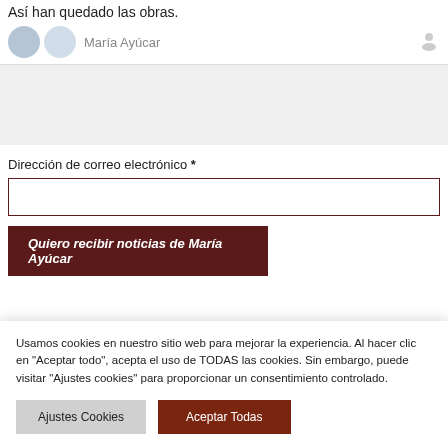Así han quedado las obras.
[Figure (screenshot): User avatar icons and username 'María Ayúcar' with a user profile icon on the right]
[Figure (screenshot): Gray background section (empty content area)]
Dirección de correo electrónico *
[Figure (screenshot): Email input field with dark red border]
[Figure (screenshot): Dark red button partially visible: 'Quiero recibir noticias de María Ayúcar']
Usamos cookies en nuestro sitio web para mejorar la experiencia. Al hacer clic en "Aceptar todo", acepta el uso de TODAS las cookies. Sin embargo, puede visitar "Ajustes cookies" para proporcionar un consentimiento controlado.
Ajustes Cookies
Aceptar Todas